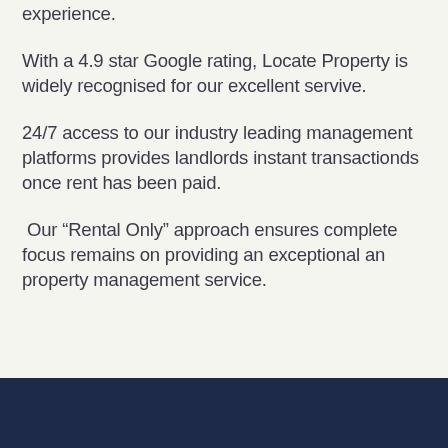experience.
With a 4.9 star Google rating, Locate Property is widely recognised for our excellent servive.
24/7 access to our industry leading management platforms provides landlords instant transactionds once rent has been paid.
Our “Rental Only” approach ensures complete focus remains on providing an exceptional an property management service.